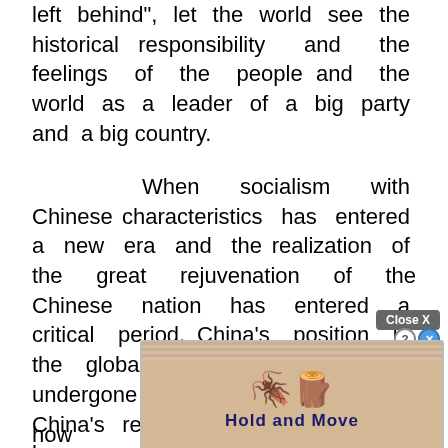left behind", let the world see the historical responsibility and the feelings of the people and the world as a leader of a big party and a big country.
When socialism with Chinese characteristics has entered a new era and the realization of the great rejuvenation of the Chinese nation has entered a critical period, China's position in the global coordinate system has undergone profound changes, and China's relationship with the world has never been so close.
Under the new situation, how should we view [ad overlay] China's
[Figure (other): Advertisement overlay showing 'Hold and Move' with cartoon figures and a close button]